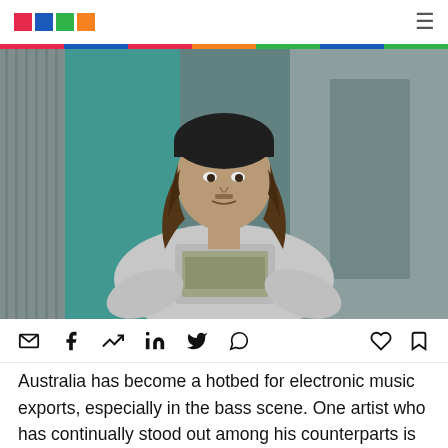[Logo: colored squares] [Hamburger menu icon]
[Figure (photo): Young man with long wavy hair wearing a black beanie and white graphic t-shirt, leaning against a teal-painted wall outdoors.]
Australia has become a hotbed for electronic music exports, especially in the bass scene. One artist who has continually stood out among his counterparts is Sydney-based Oski. From trap to dubstep and D&B, he's done it all